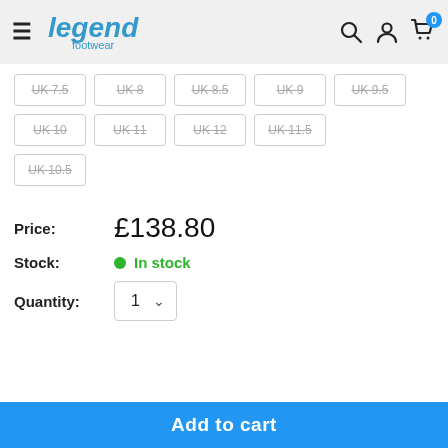legend footwear — navigation header with search, account, and cart icons
UK 7.5 (out of stock)
UK 8 (out of stock)
UK 8.5 (out of stock)
UK 9 (out of stock)
UK 9.5 (out of stock)
UK 10 (out of stock)
UK 11 (out of stock)
UK 12 (out of stock)
UK 11.5 (out of stock)
UK 10.5 (out of stock)
Price: £138.80
Stock: In stock
Quantity: 1
Add to cart